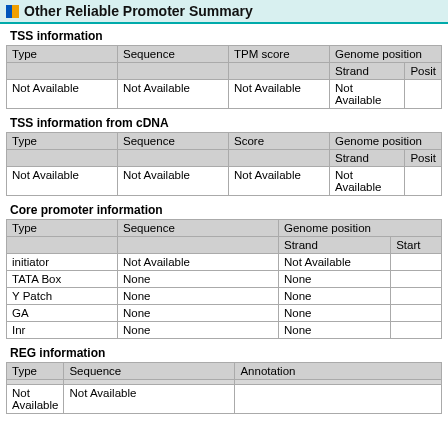Other Reliable Promoter Summary
TSS information
| Type | Sequence | TPM score | Genome position |  |
| --- | --- | --- | --- | --- |
|  |  |  | Strand | Posit |
| Not Available | Not Available | Not Available | Not Available |  |
TSS information from cDNA
| Type | Sequence | Score | Genome position |  |
| --- | --- | --- | --- | --- |
|  |  |  | Strand | Posit |
| Not Available | Not Available | Not Available | Not Available |  |
Core promoter information
| Type | Sequence | Genome position |  |
| --- | --- | --- | --- |
|  |  | Strand | Start |
| initiator | Not Available | Not Available |  |
| TATA Box | None | None |  |
| Y Patch | None | None |  |
| GA | None | None |  |
| Inr | None | None |  |
REG information
| Type | Sequence | Annotation |
| --- | --- | --- |
|  |  |  |
| Not Available | Not Available |  |